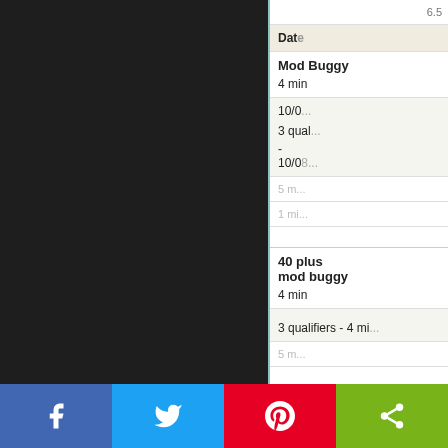| Class | Qualifier Duration | Date | Final Duration |
| --- | --- | --- | --- |
| Mod Buggy | 4 min | 10/0... | 5 m... |
|  | 3 qual... | - 10/0... | 1 mi... |
| 40 plus mod buggy | 4 min |  | 5 m... |
|  | 3 qualifiers - 4 mi... |  |  |
| 13.5 4wd Buggy | 4 min |  | 5 m... |
|  | 3 qualifiers - 4 mi... |  |  |
| Mod truc... | 4 mi... |  | 5... |
[Figure (other): Social media sharing buttons: Facebook (blue), Twitter (light blue), Pinterest (red), Share (green)]